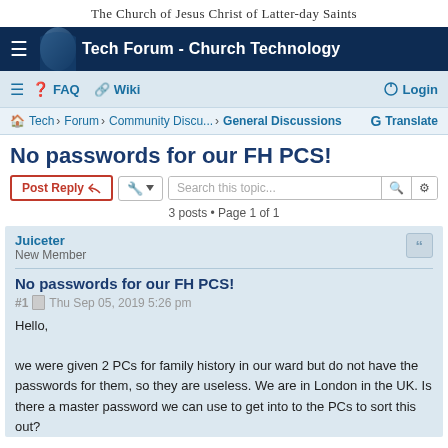The Church of Jesus Christ of Latter-day Saints
Tech Forum - Church Technology
≡ ❓ FAQ 🔗 Wiki   Login
Tech › Forum › Community Discu... › General Discussions   G Translate
No passwords for our FH PCS!
Post Reply   🔧 ▾   Search this topic...   🔍   ⚙   3 posts • Page 1 of 1
Juiceter
New Member
No passwords for our FH PCS!
#1  Thu Sep 05, 2019 5:26 pm
Hello,

we were given 2 PCs for family history in our ward but do not have the passwords for them, so they are useless. We are in London in the UK. Is there a master password we can use to get into to the PCs to sort this out?